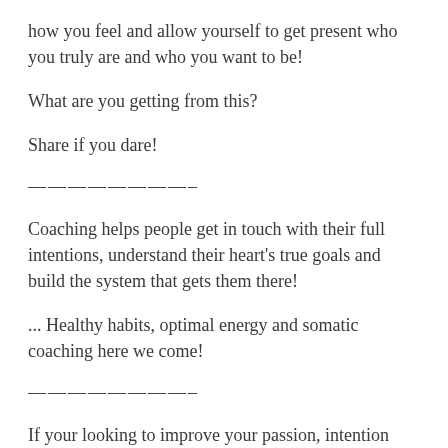how you feel and allow yourself to get present who you truly are and who you want to be!
What are you getting from this?
Share if you dare!
————————–
Coaching helps people get in touch with their full intentions, understand their heart's true goals and build the system that gets them there!
... Healthy habits, optimal energy and somatic coaching here we come!
————————–
If your looking to improve your passion, intention and